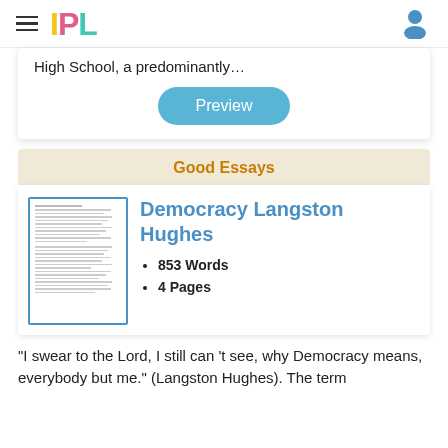IPL
High School, a predominantly…
Preview
Good Essays
[Figure (illustration): Thumbnail of a document page with lines of text, bordered in blue]
Democracy Langston Hughes
853 Words
4 Pages
“I swear to the Lord, I still can’t see, why Democracy means, everybody but me.” (Langston Hughes). The term